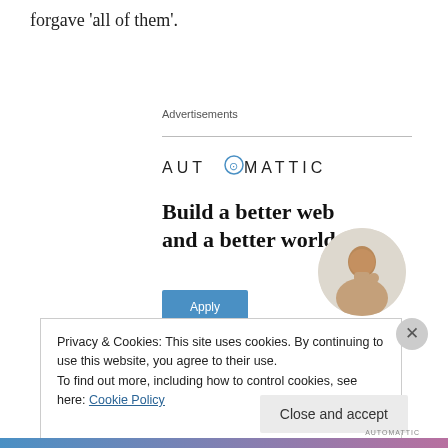forgave ‘all of them’.
Advertisements
[Figure (logo): Automattic company logo with compass-style O in text]
Build a better web and a better world.
[Figure (photo): Circular photo of a man touching his chin, thinking pose]
Privacy & Cookies: This site uses cookies. By continuing to use this website, you agree to their use.
To find out more, including how to control cookies, see here: Cookie Policy